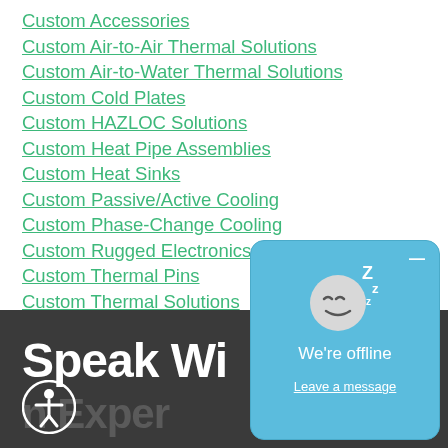Custom Accessories
Custom Air-to-Air Thermal Solutions
Custom Air-to-Water Thermal Solutions
Custom Cold Plates
Custom HAZLOC Solutions
Custom Heat Pipe Assemblies
Custom Heat Sinks
Custom Passive/Active Cooling
Custom Phase-Change Cooling
Custom Rugged Electronics
Custom Thermal Pins
Custom Thermal Solutions
Custom Thermoelectric Cooling
Heat Exchangers
Speak Wi
n Exper
[Figure (screenshot): Chat popup showing sleeping face emoji with Zz letters, 'We're offline' message, and 'Leave a message' link on light blue background]